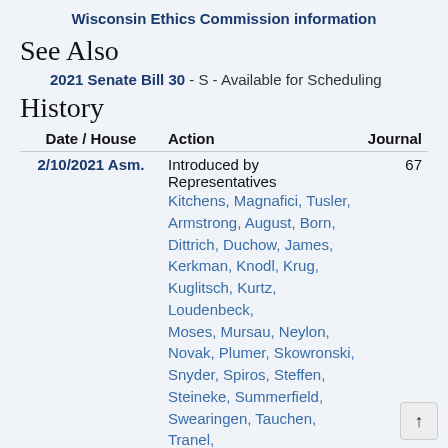Wisconsin Ethics Commission information
See Also
2021 Senate Bill 30 - S - Available for Scheduling
History
| Date / House | Action | Journal |
| --- | --- | --- |
| 2/10/2021 Asm. | Introduced by Representatives Kitchens, Magnafici, Tusler, Armstrong, August, Born, Dittrich, Duchow, James, Kerkman, Knodl, Krug, Kuglitsch, Kurtz, Loudenbeck, Moses, Mursau, Neylon, Novak, Plumer, Skowronski, Snyder, Spiros, Steffen, Steineke, Summerfield, Swearingen, Tauchen, Tranel, Vorpagel, Vos and Wittke; cosponsored by Senators Felzkowski, Bernier, Carpenter, | 67 |